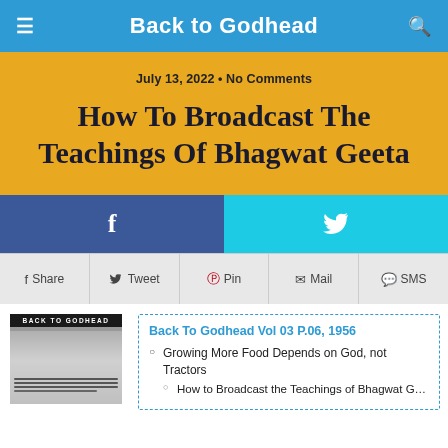Back to Godhead
July 13, 2022 • No Comments
How To Broadcast The Teachings Of Bhagwat Geeta
[Figure (infographic): Facebook and Twitter social share buttons]
Share   Tweet   Pin   Mail   SMS
[Figure (photo): Thumbnail image of Back to Godhead magazine cover]
Back To Godhead Vol 03 P.06, 1956
Growing More Food Depends on God, not Tractors
How to Broadcast the Teachings of Bhagwat Geeta